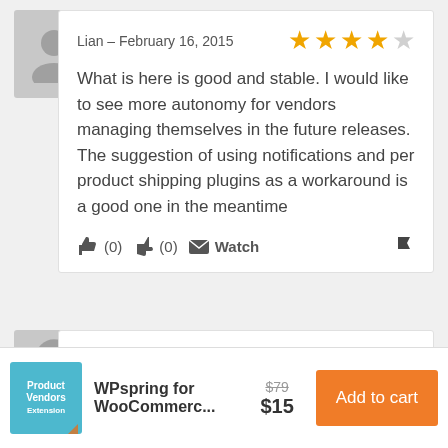[Figure (illustration): Gray placeholder avatar icon with person silhouette]
Lian – February 16, 2015
[Figure (infographic): 4 out of 5 star rating with 4 orange filled stars and 1 gray empty star]
What is here is good and stable. I would like to see more autonomy for vendors managing themselves in the future releases. The suggestion of using notifications and per product shipping plugins as a workaround is a good one in the meantime
(0)  (0)  Watch
[Figure (illustration): Gray placeholder avatar icon for second reviewer]
[Figure (logo): Product Vendors Extension logo — teal/cyan background with white text]
WPspring for WooCommerc...
$79  $15
Add to cart